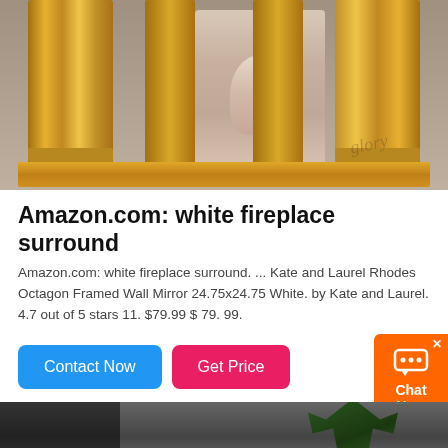[Figure (photo): Photo of an ornate marble fireplace surround with golden/yellow columns featuring classical carved figures, a pink/beige center sculpture with an angel, displayed in a workshop or warehouse setting. A watermark is visible in the lower right area of the image.]
Amazon.com: white fireplace surround
Amazon.com: white fireplace surround. ... Kate and Laurel Rhodes Octagon Framed Wall Mirror 24.75x24.75 White. by Kate and Laurel. 4.7 out of 5 stars 11. $79.99 $ 79. 99.
[Figure (screenshot): Two call-to-action buttons: a blue 'Contact Now' button and a red/pink 'Get Price' button, with an orange 'Chat Now' widget in the bottom right corner with an X close button and chat bubble icon.]
[Figure (photo): Partial view of a bottom product image showing a dark interior room setting with a plant silhouette on the right, labeled 'MOKK-427' in the lower left corner.]